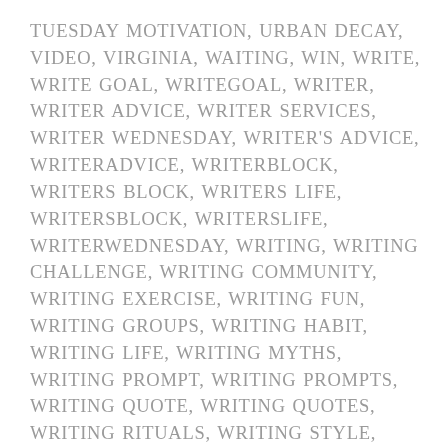TUESDAY MOTIVATION, URBAN DECAY, VIDEO, VIRGINIA, WAITING, WIN, WRITE, WRITE GOAL, WRITEGOAL, WRITER, WRITER ADVICE, WRITER SERVICES, WRITER WEDNESDAY, WRITER'S ADVICE, WRITERADVICE, WRITERBLOCK, WRITERS BLOCK, WRITERS LIFE, WRITERSBLOCK, WRITERSLIFE, WRITERWEDNESDAY, WRITING, WRITING CHALLENGE, WRITING COMMUNITY, WRITING EXERCISE, WRITING FUN, WRITING GROUPS, WRITING HABIT, WRITING LIFE, WRITING MYTHS, WRITING PROMPT, WRITING PROMPTS, WRITING QUOTE, WRITING QUOTES, WRITING RITUALS, WRITING STYLE, WRITING TIME, WRW, YOUNG ADULT, YOUNG ADULT FICTION